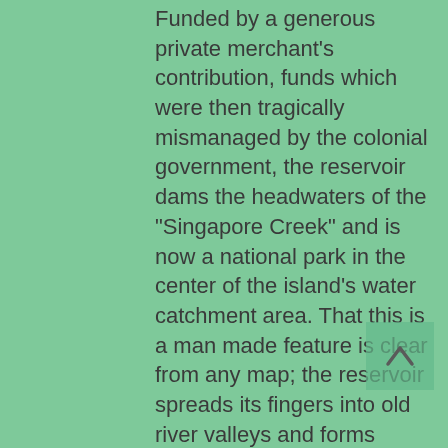Funded by a generous private merchant's contribution, funds which were then tragically mismanaged by the colonial government, the reservoir dams the headwaters of the "Singapore Creek" and is now a national park in the center of the island's water catchment area. That this is a man made feature is clear from any map; the reservoir spreads its fingers into old river valleys and forms curious heart-shaped promontories where bluffs use to lie.
We moved swiftly along in the still morning air, quiet, eyeing the swift dapple of oars on water as local boat teams raced each other along lanes marked by red buoys. Monkeys